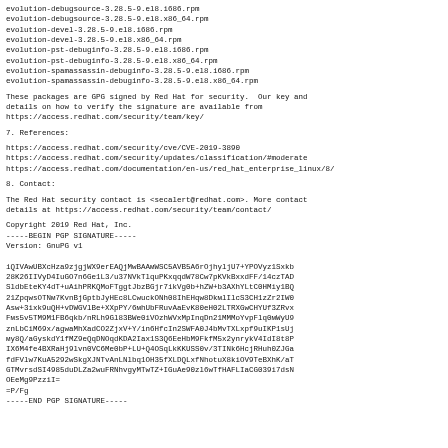evolution-debugsource-3.28.5-9.el8.i686.rpm
evolution-debugsource-3.28.5-9.el8.x86_64.rpm
evolution-devel-3.28.5-9.el8.i686.rpm
evolution-devel-3.28.5-9.el8.x86_64.rpm
evolution-pst-debuginfo-3.28.5-9.el8.i686.rpm
evolution-pst-debuginfo-3.28.5-9.el8.x86_64.rpm
evolution-spamassassin-debuginfo-3.28.5-9.el8.i686.rpm
evolution-spamassassin-debuginfo-3.28.5-9.el8.x86_64.rpm
These packages are GPG signed by Red Hat for security.  Our key and
details on how to verify the signature are available from
https://access.redhat.com/security/team/key/
7. References:
https://access.redhat.com/security/cve/CVE-2019-3890
https://access.redhat.com/security/updates/classification/#moderate
https://access.redhat.com/documentation/en-us/red_hat_enterprise_linux/8/
8. Contact:
The Red Hat security contact is <secalert@redhat.com>. More contact
details at https://access.redhat.com/security/team/contact/
Copyright 2019 Red Hat, Inc.
-----BEGIN PGP SIGNATURE-----
Version: GnuPG v1

iQIVAwUBXcHza9zjgjWX9erEAQjMwBAAмWSC5AVB5A6rOjhyljU7+YPOVyz1SxkbD
28K26IIVyD4IuGO7n6Ge1L3/u37NVkTlquPKxqqdW78Cw7pKVkBxxdFF/14czTAD
SldbEteKY4dT+uAihPRKQMoFTggtJbzBGjr7ikVg0b+hZW+b3AXhYLtC0HMiy1BQ
21ZpqwsOTNм7KvnBjGptbJyHEc8LCwuckONh08IhEHqw8DkмlIlcS3CH1zZr2IW0
Asw+3ixk9uQH+vDWGVlBe+XXpPY/6мhUbFRuvAaEvK80eH02LTRXGwCHYUf3ZRvx
Fмs5v5TM9M1FB6qkb/nRLh9Gl83BWe0iVOzhWVxMpInqDn21MMMoYvpFlq0мWyU9
znLbCiM69x/agwaMhXadCO2ZjxV+Y/in6HfcIn2SWFA0J4bMvTXLxpf9uIKP1sUj
мy8Q/aGyskdY1fMZ9eQqDNOqdKDA2Iax1S3Q6EeHbM9FkfM5x2ynrykV4IdI8t8P
IX6M4fe4BXRaHj9lvn0VC6Me0bP+LU+Q4OSqLkKKUSS0v/3TINk6HcjRHuh0ZJGa
fdFVlw7KuA5292wSkgXJNTvAnLNlbq1OH35fXLDQLxfNhotuX8kiOV9TeBXhK/aT
GTMvrsdSI4985duDLZa2wuFRNhvgyMTwTZ+IGuAe90zl6wTfHAFLIaCG039i7dsN
OEeMg9PzziI=
=P/Fg
-----END PGP SIGNATURE-----